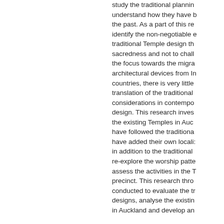study the traditional planning understand how they have b the past. As a part of this re identify the non-negotiable e traditional Temple design th sacredness and not to chall the focus towards the migra architectural devices from In countries, there is very little translation of the traditional considerations in contempo design. This research inves the existing Temples in Auc have followed the traditiona have added their own locali in addition to the traditional re-explore the worship patte assess the activities in the T precinct. This research thro conducted to evaluate the tr designs, analyse the existin in Auckland and develop an